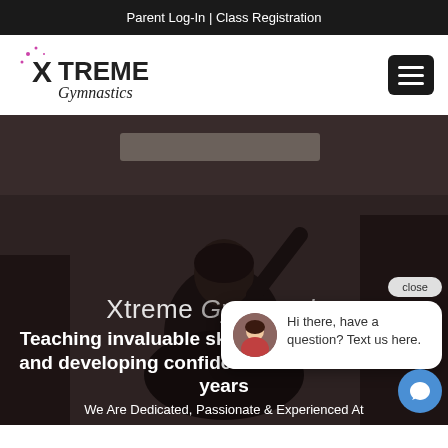Parent Log-In | Class Registration
[Figure (logo): Xtreme Gymnastics logo with star/sparkle icon and stylized text]
[Figure (photo): Gymnastics athlete viewed from behind, performing or looking up at gym ceiling]
Xtreme Gymnastics
Teaching invaluable skills, building character and developing confident athletes for over 20 years
We Are Dedicated, Passionate & Experienced At
[Figure (screenshot): Chat widget overlay showing avatar of woman and text: Hi there, have a question? Text us here. With close button and chat icon.]